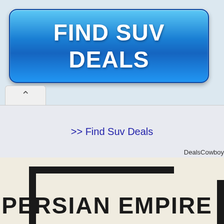[Figure (screenshot): Blue gradient button with white bold text reading FIND SUV DEALS]
>> Find Suv Deals
DealsCowboy
PERSIAN EMPIRE